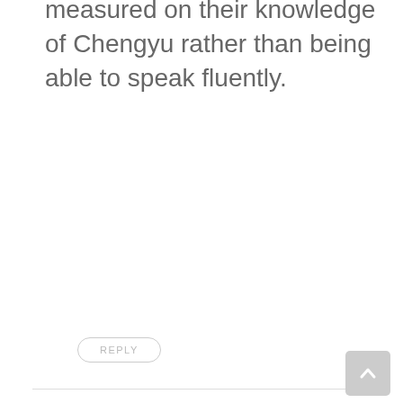measured on their knowledge of Chengyu rather than being able to speak fluently.
REPLY
November 7, 2013 At 4:00 Am
Mike Says:
“When someone knows Chengyu, people are impressed and you have a better view of